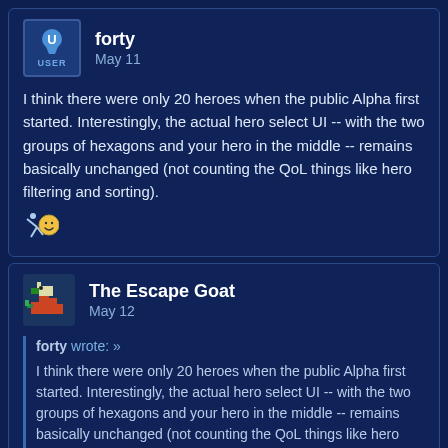forty — May 11
I think there were only 20 heroes when the public Alpha first started. Interestingly, the actual hero select UI -- with the two groups of hexagons and your hero in the middle -- remains basically unchanged (not counting the QoL things like hero filtering and sorting).
The Escape Goat — May 12
forty wrote: » I think there were only 20 heroes when the public Alpha first started. Interestingly, the actual hero select UI -- with the two groups of hexagons and your hero in the middle -- remains basically unchanged (not counting the QoL things like hero filtering and sorting).